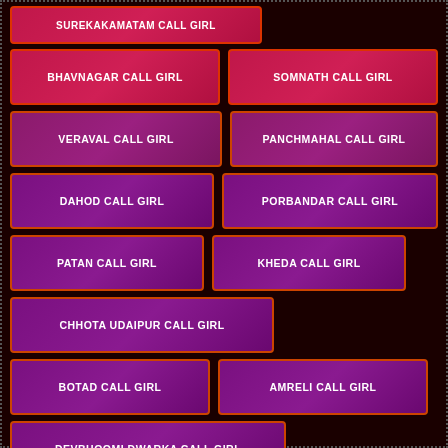BHAVNAGAR CALL GIRL
SOMNATH CALL GIRL
VERAVAL CALL GIRL
PANCHMAHAL CALL GIRL
DAHOD CALL GIRL
PORBANDAR CALL GIRL
PATAN CALL GIRL
KHEDA CALL GIRL
CHHOTA UDAIPUR CALL GIRL
BOTAD CALL GIRL
AMRELI CALL GIRL
DEVBHOOMI DWARKA CALL GIRL
GIR SOMNATH CALL GIRL
JAMNAGAR CALL GIRL
JUNAGADH CALL GIRL